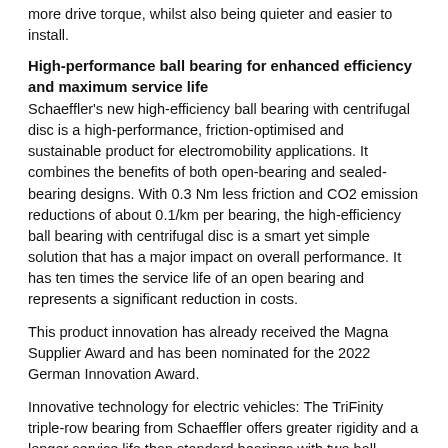more drive torque, whilst also being quieter and easier to install.
High-performance ball bearing for enhanced efficiency and maximum service life
Schaeffler's new high-efficiency ball bearing with centrifugal disc is a high-performance, friction-optimised and sustainable product for electromobility applications. It combines the benefits of both open-bearing and sealed-bearing designs. With 0.3 Nm less friction and CO2 emission reductions of about 0.1/km per bearing, the high-efficiency ball bearing with centrifugal disc is a smart yet simple solution that has a major impact on overall performance. It has ten times the service life of an open bearing and represents a significant reduction in costs.
This product innovation has already received the Magna Supplier Award and has been nominated for the 2022 German Innovation Award.
Innovative technology for electric vehicles: The TriFinity triple-row bearing from Schaeffler offers greater rigidity and a longer service life than standard bearings with two ball bearing rows. The face spline design opens the way to significant reductions in bearing diameter.